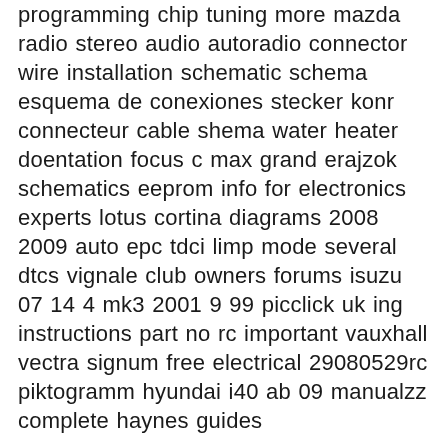programming chip tuning more mazda radio stereo audio autoradio connector wire installation schematic schema esquema de conexiones stecker konr connecteur cable shema water heater doentation focus c max grand erajzok schematics eeprom info for electronics experts lotus cortina diagrams 2008 2009 auto epc tdci limp mode several dtcs vignale club owners forums isuzu 07 14 4 mk3 2001 9 99 picclick uk ing instructions part no rc important vauxhall vectra signum free electrical 29080529rc piktogramm hyundai i40 ab 09 manualzz complete haynes guides